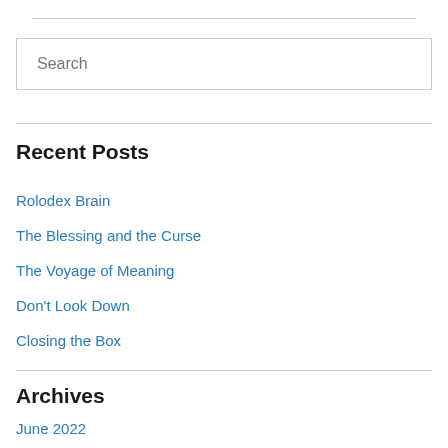[Figure (screenshot): Search input box with placeholder text 'Search']
Recent Posts
Rolodex Brain
The Blessing and the Curse
The Voyage of Meaning
Don't Look Down
Closing the Box
Archives
June 2022
May 2022
April 2022
March 2022